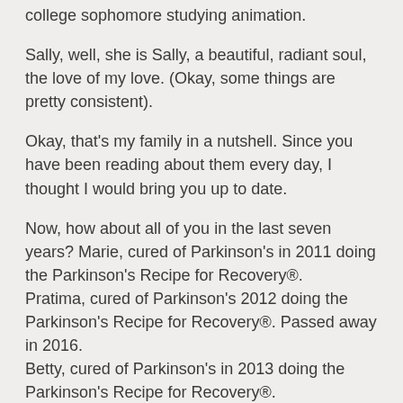college sophomore studying animation.
Sally, well, she is Sally, a beautiful, radiant soul, the love of my love. (Okay, some things are pretty consistent).
Okay, that's my family in a nutshell. Since you have been reading about them every day, I thought I would bring you up to date.
Now, how about all of you in the last seven years? Marie, cured of Parkinson's in 2011 doing the Parkinson's Recipe for Recovery®. Pratima, cured of Parkinson's 2012 doing the Parkinson's Recipe for Recovery®. Passed away in 2016. Betty, cured of Parkinson's in 2013 doing the Parkinson's Recipe for Recovery®. Helen, cured of Parkinson's in 2015 doing the Parkinson's Recipe for Recovery®. Hundreds of you slowing, halting and reversing your Parkinson's doing the Parkinson's Recipe for Recovery®.